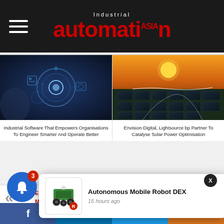Industrial automation ASIA
[Figure (photo): Hand touching digital industrial interface with gear/cog hologram icons on blue background]
Industrial Software That Empowers Organisations To Engineer Smarter And Operate Better
[Figure (photo): Aerial view of large solar panel farm at sunset/dusk with orange sky]
Envision Digital, Lightsource bp Partner To Catalyse Solar Power Optimisation
Ericsson IndustryLab Report Predicts Manufacturing Transformation By 2030
Four in 10 Patients Fear
[Figure (photo): Autonomous Mobile Robot DEX - white and green wheeled robot platform]
Autonomous Mobile Robot DEX
15 hours ago